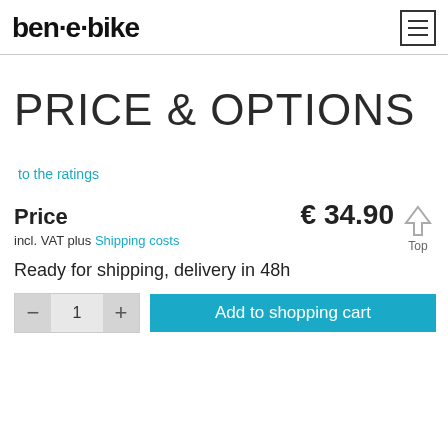ben-e-bike
PRICE & OPTIONS
to the ratings
Price   € 34.90
incl. VAT plus Shipping costs
Ready for shipping, delivery in 48h
Add to shopping cart